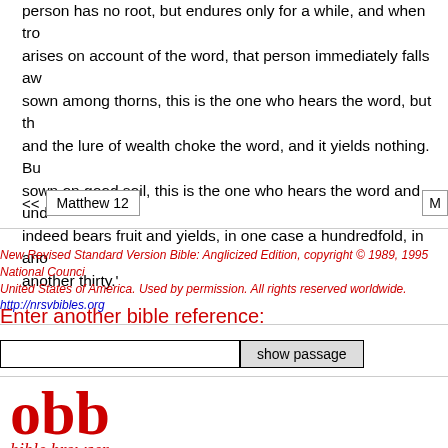person has no root, but endures only for a while, and when trouble arises on account of the word, that person immediately falls away. As for what was sown among thorns, this is the one who hears the word, but the cares of the world and the lure of wealth choke the word, and it yields nothing. But as for what was sown on good soil, this is the one who hears the word and understands it, who indeed bears fruit and yields, in one case a hundredfold, in another sixty, and another thirty.'
<< Matthew 12    M...
New Revised Standard Version Bible: Anglicized Edition, copyright © 1989, 1995 National Council of the Churches of Christ in the United States of America. Used by permission. All rights reserved worldwide. http://nrsvbibles.org
Enter another bible reference:
[input field] show passage
[Figure (logo): obb bible browser logo in red]
biblemail@oremus.org
v 2.9.2
30 June 2021